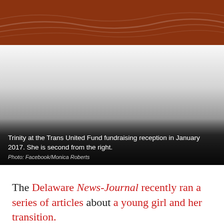[Figure (photo): Header band with dark orange/brown background and decorative wave lines]
[Figure (photo): Photo of Trinity at the Trans United Fund fundraising reception in January 2017, showing a group of people, she is second from the right. The lower portion fades to dark with an overlaid caption.]
Trinity at the Trans United Fund fundraising reception in January 2017. She is second from the right.
Photo: Facebook/Monica Roberts
The Delaware News-Journal recently ran a series of articles about a young girl and her transition.